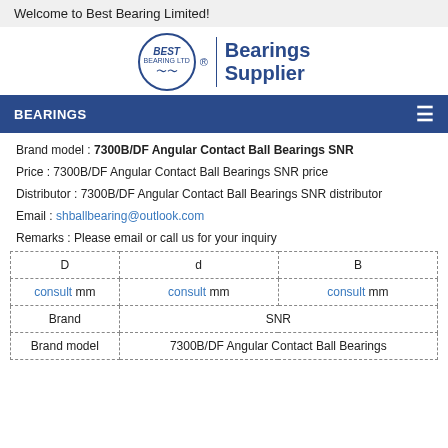Welcome to Best Bearing Limited!
[Figure (logo): Best Bearing Ltd logo with circular emblem and 'Bearings Supplier' text]
BEARINGS
Brand model : 7300B/DF Angular Contact Ball Bearings SNR
Price : 7300B/DF Angular Contact Ball Bearings SNR price
Distributor : 7300B/DF Angular Contact Ball Bearings SNR distributor
Email : shballbearing@outlook.com
Remarks : Please email or call us for your inquiry
| D | d | B |
| --- | --- | --- |
| consult mm | consult mm | consult mm |
| Brand | SNR | SNR |
| Brand model | 7300B/DF Angular Contact Ball Bearings | 7300B/DF Angular Contact Ball Bearings |